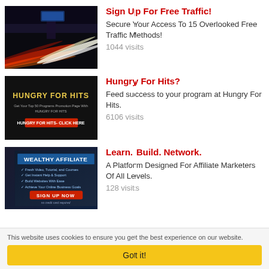[Figure (photo): Highway at night with red and white light trails from vehicles]
Sign Up For Free Traffic!
Secure Your Access To 15 Overlooked Free Traffic Methods!
1044 visits
[Figure (photo): Hungry For Hits promotional banner with dark background and yellow text]
Hungry For Hits?
Feed success to your program at Hungry For Hits.
6106 visits
[Figure (photo): Wealthy Affiliate promotional banner with dark blue background and red sign up button]
Learn. Build. Network.
A Platform Designed For Affiliate Marketers Of All Levels.
128 visits
[Figure (photo): Dark portrait photo of a woman for A.I. Copywriting advertisement]
A. I. Copywriting
Use AI To Generate Ads, Emails,
This website uses cookies to ensure you get the best experience on our website.
Got it!